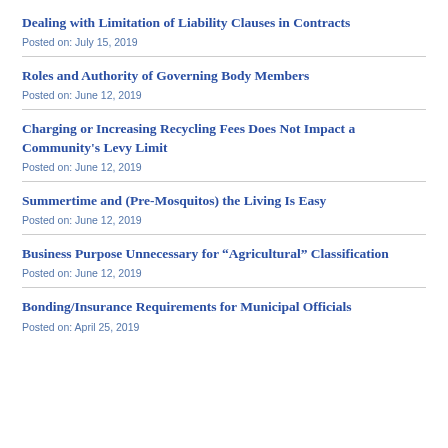Dealing with Limitation of Liability Clauses in Contracts
Posted on: July 15, 2019
Roles and Authority of Governing Body Members
Posted on: June 12, 2019
Charging or Increasing Recycling Fees Does Not Impact a Community's Levy Limit
Posted on: June 12, 2019
Summertime and (Pre-Mosquitos) the Living Is Easy
Posted on: June 12, 2019
Business Purpose Unnecessary for “Agricultural” Classification
Posted on: June 12, 2019
Bonding/Insurance Requirements for Municipal Officials
Posted on: April 25, 2019